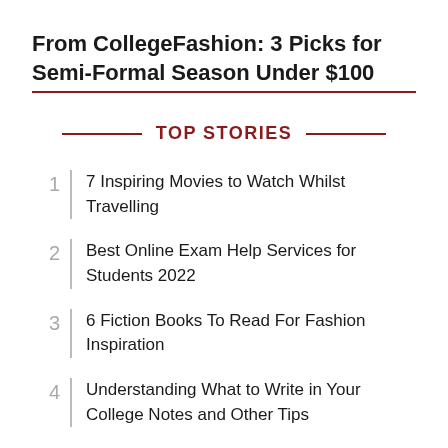From CollegeFashion: 3 Picks for Semi-Formal Season Under $100
TOP STORIES
7 Inspiring Movies to Watch Whilst Travelling
Best Online Exam Help Services for Students 2022
6 Fiction Books To Read For Fashion Inspiration
Understanding What to Write in Your College Notes and Other Tips